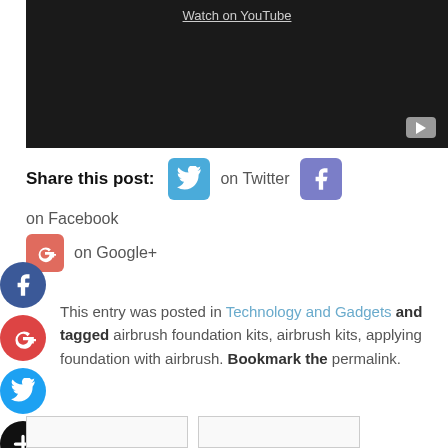[Figure (screenshot): Black YouTube video embed with 'Watch on YouTube' link and play button icon in lower right]
Share this post: on Twitter on Facebook on Google+
This entry was posted in Technology and Gadgets and tagged airbrush foundation kits, airbrush kits, applying foundation with airbrush. Bookmark the permalink.